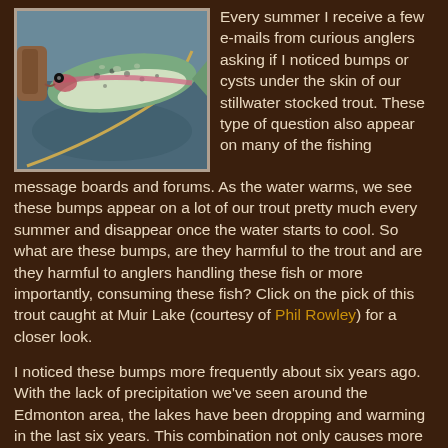[Figure (photo): A person holding a rainbow trout over water, with a fishing line visible. The fish shows bumps or cysts under its skin.]
Every summer I receive a few e-mails from curious anglers asking if I noticed bumps or cysts under the skin of our stillwater stocked trout. These type of question also appear on many of the fishing message boards and forums. As the water warms, we see these bumps appear on a lot of our trout pretty much every summer and disappear once the water starts to cool. So what are these bumps, are they harmful to the trout and are they harmful to anglers handling these fish or more importantly, consuming these fish? Click on the pick of this trout caught at Muir Lake (courtesy of Phil Rowley) for a closer look.
I noticed these bumps more frequently about six years ago. With the lack of precipitation we've seen around the Edmonton area, the lakes have been dropping and warming in the last six years. This combination not only causes more